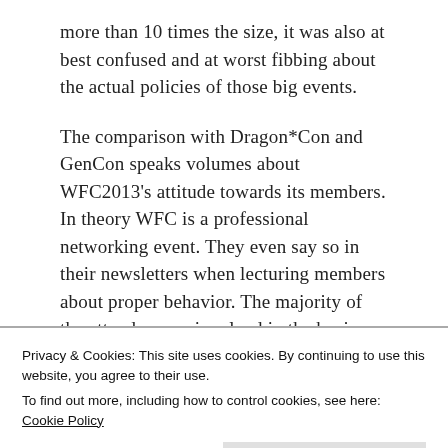more than 10 times the size, it was also at best confused and at worst fibbing about the actual policies of those big events.
The comparison with Dragon*Con and GenCon speaks volumes about WFC2013's attitude towards its members. In theory WFC is a professional networking event. They even say so in their newsletters when lecturing members about proper behavior. The majority of the attendees are involved in the business in one way or another. However,
Privacy & Cookies: This site uses cookies. By continuing to use this website, you agree to their use.
To find out more, including how to control cookies, see here: Cookie Policy
centers and the security people come as part of the